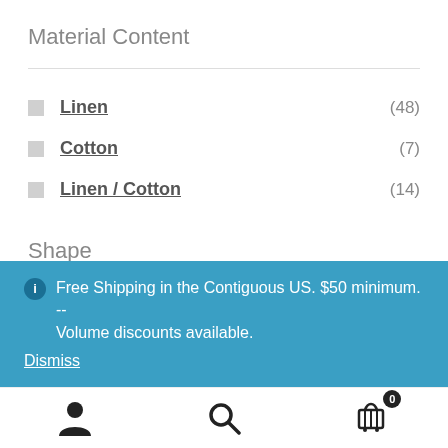Material Content
Linen (48)
Cotton (7)
Linen / Cotton (14)
Shape
Free Shipping in the Contiguous US. $50 minimum. -- Volume discounts available. Dismiss